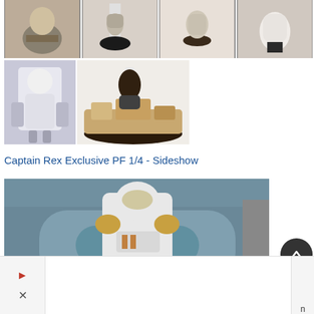[Figure (photo): Top row of four photos showing Star Wars collectible figurines/statues on display stands]
[Figure (photo): Second row: left photo of a clone trooper figurine, right photo of a figurine base/diorama with sand and rocks]
Captain Rex Exclusive PF 1/4 - Sideshow
[Figure (photo): Large photo of Captain Rex Sideshow Premium Format 1/4 scale statue showing white and gold clone trooper armor]
[Figure (other): Advertisement bar at bottom of page with forward arrow and close button]